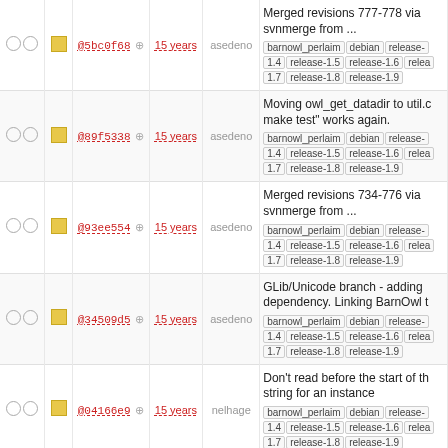|  |  | hash | age | author | message |
| --- | --- | --- | --- | --- | --- |
| ○ ○ | ■ | @5bc0f68 | 15 years | asedeno | Merged revisions 777-778 via svnmerge from ... barnowl_perlaim debian release-1.4 release-1.5 release-1.6 relea 1.7 release-1.8 release-1.9 |
| ○ ○ | ■ | @89f5338 | 15 years | asedeno | Moving owl_get_datadir to util.c make test" works again. barnowl_perlaim debian release-1.4 release-1.5 release-1.6 relea 1.7 release-1.8 release-1.9 |
| ○ ○ | ■ | @93ee554 | 15 years | asedeno | Merged revisions 734-776 via svnmerge from ... barnowl_perlaim debian release-1.4 release-1.5 release-1.6 relea 1.7 release-1.8 release-1.9 |
| ○ ○ | ■ | @34509d5 | 15 years | asedeno | GLib/Unicode branch - adding dependency. Linking BarnOwl t barnowl_perlaim debian release-1.4 release-1.5 release-1.6 relea 1.7 release-1.8 release-1.9 |
| ○ ○ | ■ | @04166e9 | 15 years | nelhage | Don't read before the start of th string for an instance barnowl_perlaim debian release-1.4 release-1.5 release-1.6 relea 1.7 release-1.8 release-1.9 |
| ○ ○ | ■ | @93f65b6 | 15 years | nelhage | Clean up an unused var warnin barnowl_perlaim debian release-1.4 release-1.5 release-1.6 relea 1.7 release-1.8 release-1.9 |
| ○ ○ | ■ | @1cf3f8d3 | 15 years | nelhage | Make the built-in regression tes output TAP and add a perl wra ... barnowl_perlaim debian relea 1.4 release-1.5 release-1.6 |